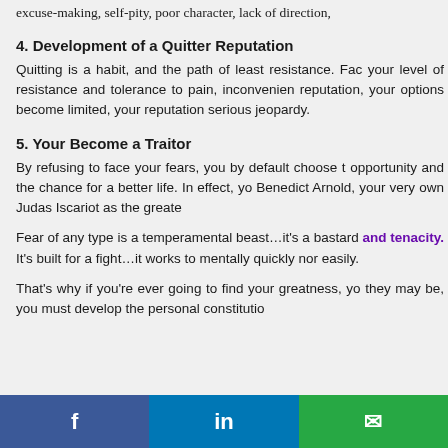excuse-making, self-pity, poor character, lack of direction,
4. Development of a Quitter Reputation
Quitting is a habit, and the path of least resistance. Fac your level of resistance and tolerance to pain, inconvenien reputation, your options become limited, your reputation serious jeopardy.
5. Your Become a Traitor
By refusing to face your fears, you by default choose t opportunity and the chance for a better life. In effect, yo Benedict Arnold, your very own Judas Iscariot as the greate
Fear of any type is a temperamental beast...it's a bastard and tenacity. It's built for a fight...it works to mentally quickly nor easily.
That's why if you're ever going to find your greatness, yo they may be, you must develop the personal constitutio
f | in | ✉